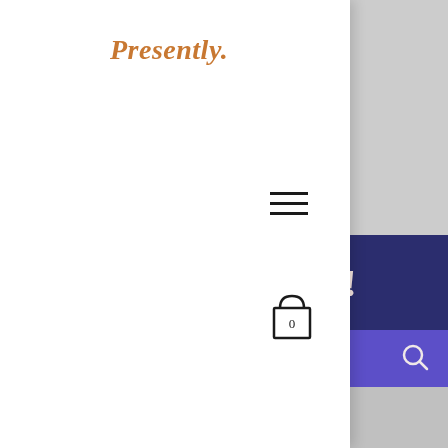Presently.
[Figure (infographic): Hamburger menu icon (three horizontal lines)]
[Figure (infographic): Shopping cart/bag icon with '0' label]
Parlons-en!
JOURNAL
[Figure (infographic): Search magnifying glass icon]
[Figure (photo): Gray background area with partial hand/fingers visible at bottom]